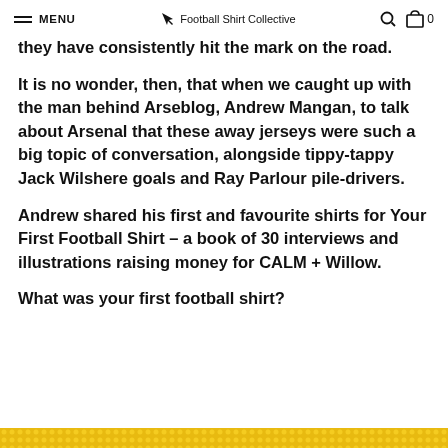MENU | Football Shirt Collective | 0
they have consistently hit the mark on the road.
It is no wonder, then, that when we caught up with the man behind Arseblog, Andrew Mangan, to talk about Arsenal that these away jerseys were such a big topic of conversation, alongside tippy-tappy Jack Wilshere goals and Ray Parlour pile-drivers.
Andrew shared his first and favourite shirts for Your First Football Shirt – a book of 30 interviews and illustrations raising money for CALM + Willow.
What was your first football shirt?
[Figure (other): Yellow/gold patterned texture bar at bottom of page]